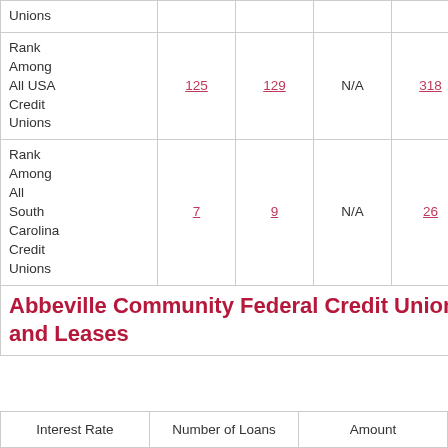|  | Col1 | Col2 | Col3 | Col4 | Col5 |
| --- | --- | --- | --- | --- | --- |
| Unions |  |  |  |  |  |
| Rank
Among
All USA
Credit
Unions | 125 | 129 | N/A | 318 | N/A |
| Rank
Among
All
South
Carolina
Credit
Unions | 7 | 9 | N/A | 26 | N/A |
Abbeville Community Federal Credit Union Loans and Leases
| Interest Rate | Number of Loans | Amount |
| --- | --- | --- |